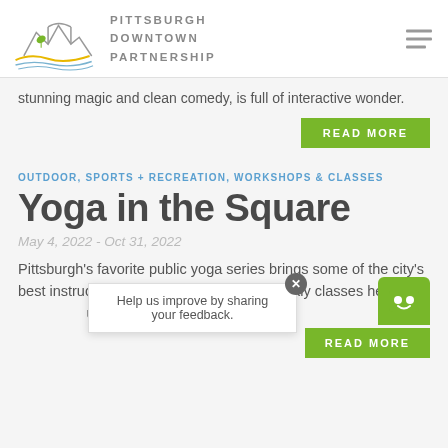[Figure (logo): Pittsburgh Downtown Partnership logo with stylized bridge/mountain outline and yellow/blue wave lines]
PITTSBURGH DOWNTOWN PARTNERSHIP
stunning magic and clean comedy, is full of interactive wonder.
READ MORE
OUTDOOR, SPORTS + RECREATION, WORKSHOPS & CLASSES
Yoga in the Square
May 4, 2022 - Oct 31, 2022
Pittsburgh's favorite public yoga series brings some of the city's best instructors into Downtown for two weekly classes held at Market Square.
Help us improve by sharing your feedback.
READ MORE